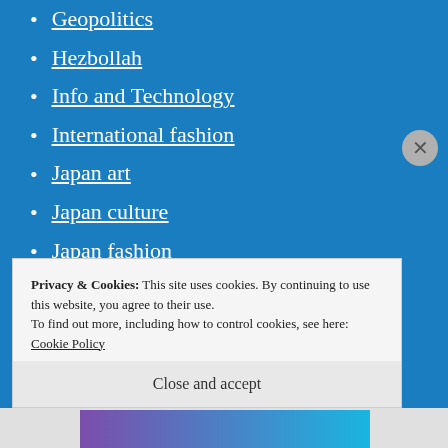Geopolitics
Hezbollah
Info and Technology
International fashion
Japan art
Japan culture
Japan fashion
Japan geopolitics
Japan lifestyle
Japan news
Japan Tourism
Privacy & Cookies: This site uses cookies. By continuing to use this website, you agree to their use.
To find out more, including how to control cookies, see here: Cookie Policy
Close and accept